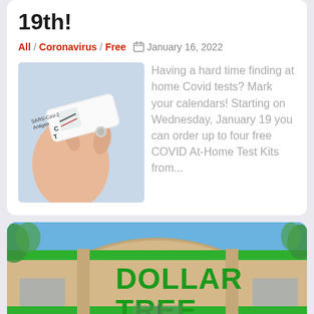19th!
All / Coronavirus / Free  January 16, 2022
[Figure (photo): Hand holding a SARS-CoV-2 antigen rapid at-home COVID test kit device]
Having a hard time finding at home Covid tests? Mark your calendars! Starting on Wednesday, January 19 you can order up to four free COVID At-Home Test Kits from...
[Figure (photo): Dollar Tree store exterior with green and tan facade and bold green Dollar Tree lettering]